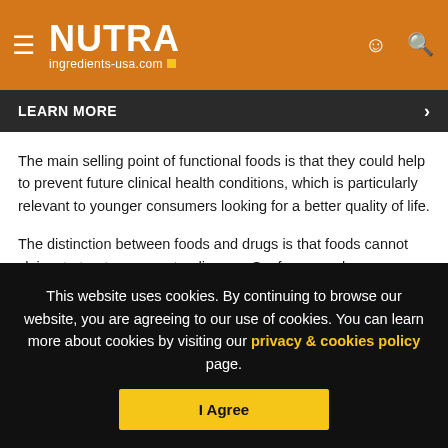NUTRA ingredients-usa.com
LEARN MORE
The main selling point of functional foods is that they could help to prevent future clinical health conditions, which is particularly relevant to younger consumers looking for a better quality of life.
The distinction between foods and drugs is that foods cannot claims to treat or prevent a disease. So, for example, a person
This website uses cookies. By continuing to browse our website, you are agreeing to our use of cookies. You can learn more about cookies by visiting our privacy & cookies policy page.
I Agree